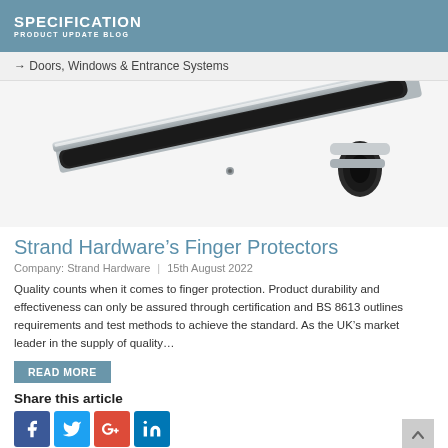SPECIFICATION
PRODUCT UPDATE BLOG
→ Doors, Windows & Entrance Systems
[Figure (photo): Close-up photo of a finger protector strip product — a silver/chrome metal bar with a black rubberised protective insert, shown at an angle against a white background]
Strand Hardware's Finger Protectors
Company: Strand Hardware  |  15th August 2022
Quality counts when it comes to finger protection. Product durability and effectiveness can only be assured through certification and BS 8613 outlines requirements and test methods to achieve the standard. As the UK's market leader in the supply of quality…
READ MORE
Share this article